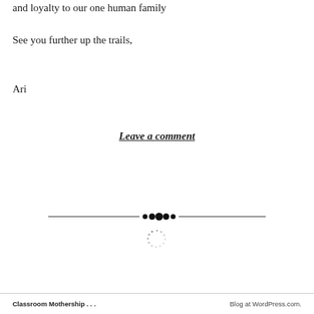and loyalty to our one human family
See you further up the trails,
Ari
Leave a comment
[Figure (illustration): Decorative horizontal divider with dots/ornament in the center and a small loading spinner icon below it]
Classroom Mothership . . .     Blog at WordPress.com.